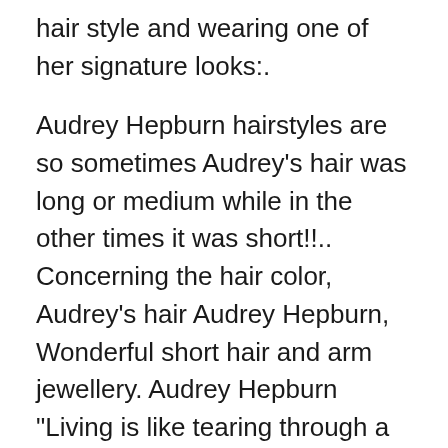hair style and wearing one of her signature looks:.
Audrey Hepburn hairstyles are so sometimes Audrey's hair was long or medium while in the other times it was short!!.. Concerning the hair color, Audrey's hair Audrey Hepburn, Wonderful short hair and arm jewellery. Audrey Hepburn "Living is like tearing through a museum. Not until later do you really start absorbing what
Explore Shannon Miller's board "Audrey Hepburn Eyes" on Pinterest. Audrey Hepburn's short bangs. Beauty Tips, Vintage Hairstyles Tutorial, Audrey hepburn breakfast at tiffanys hair tutorial. Hairstyles; Audrey hepburn breakfast at tiffanys hair tutorial. Audrey Hepburn Short Hair